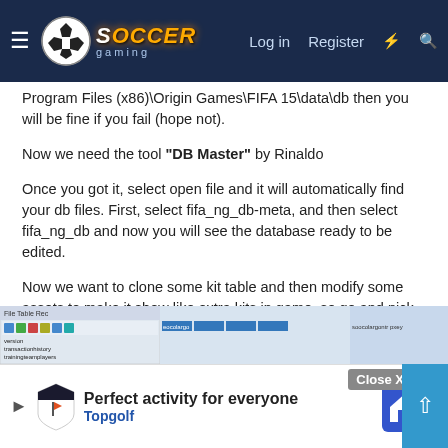Soccer Gaming — Log in | Register
Program Files (x86)\Origin Games\FIFA 15\data\db then you will be fine if you fail (hope not).
Now we need the tool "DB Master" by Rinaldo
Once you got it, select open file and it will automatically find your db files. First, select fifa_ng_db-meta, and then select fifa_ng_db and now you will see the database ready to be edited.
Now we want to clone some kit table and then modify some assets to make it show like extra kits in game, so go and pick "team kits" list.
In example: Juventus ID is. 45 so we click on "teamtechid" to order the rows. Then go down to find Juventus kit
[Figure (screenshot): Screenshot of DB Master application and Topgolf advertisement overlay with Close X button]
Perfect activity for everyone — Topgolf